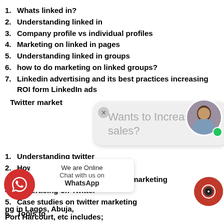1. Whats linked in?
2. Understanding linked in
3. Company profile vs individual profiles
4. Marketing on linked in pages
5. Understanding linked in groups
6. how to do marketing on linked groups?
7. Linkedin advertising and its best practices increasing ROI form LinkedIn ads
Twitter market
[Figure (screenshot): Chat popup: Wants to Increase sales?]
1. Understanding twitter
2. How to do marketing on twitter
3. Black hats techniques of digital marketing
4. Advertising on Twitter
5. Case studies on twitter marketing
6. Tools fo
[Figure (screenshot): WhatsApp chat popup: We are Online, Chat with us on WhatsApp]
Dig                ng in Lagos, Abuja, Port Harcourt, etc includes;